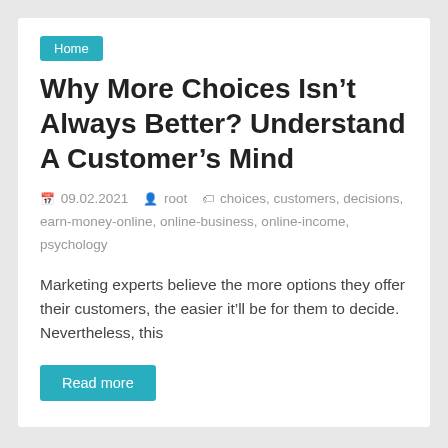Home
Why More Choices Isn’t Always Better? Understand A Customer’s Mind
09.02.2021   root   choices, customers, decisions, earn-money-online, online-business, online-income, psychology
Marketing experts believe the more options they offer their customers, the easier it’ll be for them to decide. Nevertheless, this
Read more